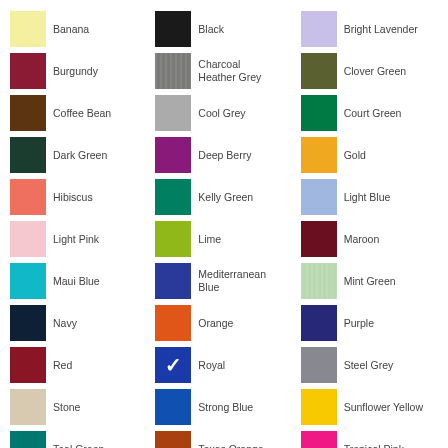[Figure (infographic): Color swatch chart showing 30 colors arranged in a 3-column grid. Each entry has a colored square swatch and a color name label. Colors: Banana, Black, Bright Lavender, Burgundy, Charcoal Heather Grey, Clover Green, Coffee Bean, Cool Grey, Court Green, Dark Green, Deep Berry, Gold, Hibiscus, Kelly Green, Light Blue, Light Pink, Lime, Maroon, Maui Blue, Mediterranean Blue, Mint Green, Navy, Orange, Purple, Red, Royal, Steel Grey, Stone, Strong Blue, Sunflower Yellow, Teal Green, Texas Orange, Tropical Pink]